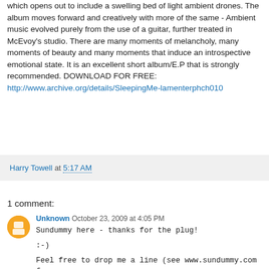which opens out to include a swelling bed of light ambient drones. The album moves forward and creatively with more of the same - Ambient music evolved purely from the use of a guitar, further treated in McEvoy's studio. There are many moments of melancholy, many moments of beauty and many moments that induce an introspective emotional state. It is an excellent short album/E.P that is strongly recommended. DOWNLOAD FOR FREE: http://www.archive.org/details/SleepingMe-lamenterphch010
Harry Towell at 5:17 AM
1 comment:
Unknown October 23, 2009 at 4:05 PM
Sundummy here - thanks for the plug!

:-)

Feel free to drop me a line (see www.sundummy.com for